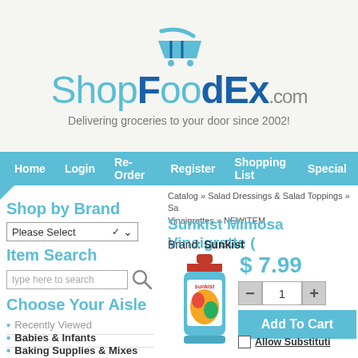[Figure (logo): ShopFoodEx.com logo with shopping cart icon and tagline 'Delivering groceries to your door since 2002!']
Home   Login   Re-Order   Register   Shopping List   Special
Shop by Brand
Item Search
Choose Your Aisle
Recently Viewed
Babies & Infants
Baking Supplies & Mixes
Beverages
Catalog » Salad Dressings & Salad Toppings » Sa... Vinaigrettes » NEWITEM
Sunkist Mimosa Vinaigrette (
Brand: Sunkist
$ 7.99
[Figure (photo): Bottle of Sunkist Mimosa Vinaigrette salad dressing]
Allow Substituti